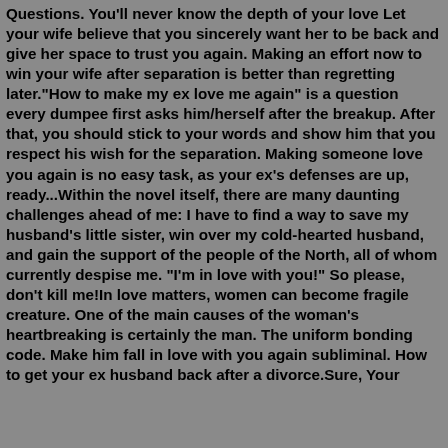Questions. You'll never know the depth of your love Let your wife believe that you sincerely want her to be back and give her space to trust you again. Making an effort now to win your wife after separation is better than regretting later."How to make my ex love me again" is a question every dumpee first asks him/herself after the breakup. After that, you should stick to your words and show him that you respect his wish for the separation. Making someone love you again is no easy task, as your ex's defenses are up, ready...Within the novel itself, there are many daunting challenges ahead of me: I have to find a way to save my husband's little sister, win over my cold-hearted husband, and gain the support of the people of the North, all of whom currently despise me. "I'm in love with you!" So please, don't kill me!In love matters, women can become fragile creature. One of the main causes of the woman's heartbreaking is certainly the man. The uniform bonding code. Make him fall in love with you again subliminal. How to get your ex husband back after a divorce.Sure, Your